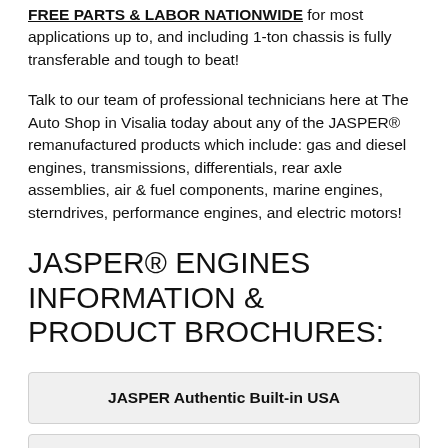FREE PARTS & LABOR NATIONWIDE for most applications up to, and including 1-ton chassis is fully transferable and tough to beat!
Talk to our team of professional technicians here at The Auto Shop in Visalia today about any of the JASPER® remanufactured products which include: gas and diesel engines, transmissions, differentials, rear axle assemblies, air & fuel components, marine engines, sterndrives, performance engines, and electric motors!
JASPER® ENGINES INFORMATION & PRODUCT BROCHURES:
JASPER Authentic Built-in USA
JASPER Diesel Engines
Used vs. JASPER?
Performance JASPER Engines